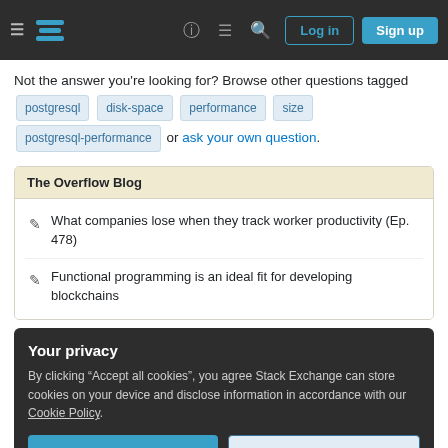Stack Exchange navigation bar with hamburger menu, logo, help icon, chat icon, search icon, Log in button, Sign up button
Not the answer you're looking for? Browse other questions tagged postgresql disk-space performance size postgresql-performance or ask your own question.
The Overflow Blog
What companies lose when they track worker productivity (Ep. 478)
Functional programming is an ideal fit for developing blockchains
Your privacy
By clicking "Accept all cookies", you agree Stack Exchange can store cookies on your device and disclose information in accordance with our Cookie Policy.
Accept all cookies  Customize settings
Linked